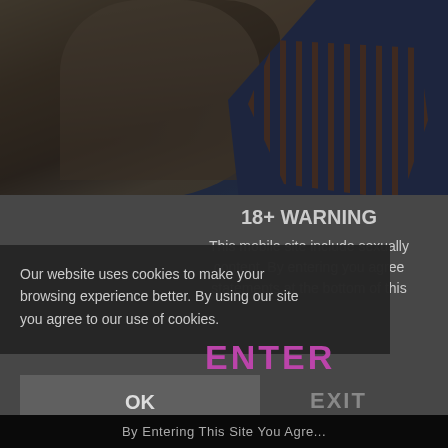[Figure (photo): Woman wearing a blue and orange cut-out swimsuit, photographed from approximately chest up, with long wavy brown hair against a white background. The right portion shows another person in blue.]
18+ WARNING
This mobile site include sexually content. By entering you agree statements at the bottom of this
Our website uses cookies to make your browsing experience better. By using our site you agree to our use of cookies.
ENTER
OK
EXIT
By Entering This Site You Agre...